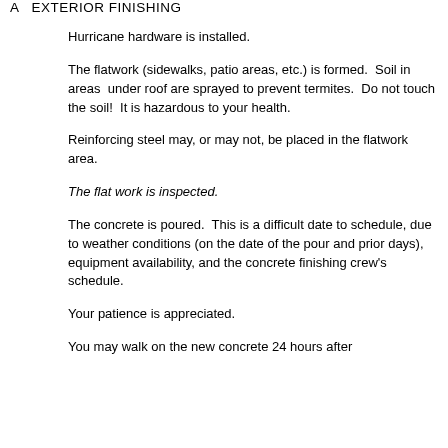A   EXTERIOR FINISHING
Hurricane hardware is installed.
The flatwork (sidewalks, patio areas, etc.) is formed.  Soil in areas  under roof are sprayed to prevent termites.  Do not touch the soil!  It is hazardous to your health.
Reinforcing steel may, or may not, be placed in the flatwork area.
The flat work is inspected.
The concrete is poured.  This is a difficult date to schedule, due to weather conditions (on the date of the pour and prior days),  equipment availability, and the concrete finishing crew's schedule.
Your patience is appreciated.
You may walk on the new concrete 24 hours after